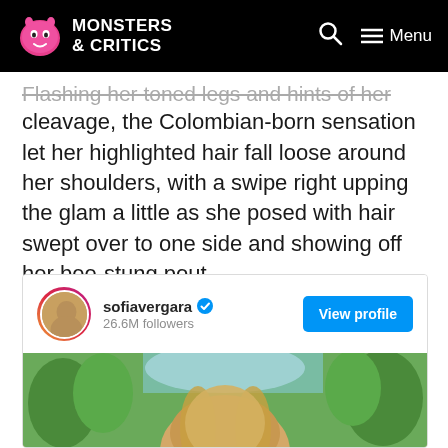Monsters & Critics — Menu
Flashing her toned legs and hints of her cleavage, the Colombian-born sensation let her highlighted hair fall loose around her shoulders, with a swipe right upping the glam a little as she posed with hair swept over to one side and showing off her bee-stung pout.
“Summer weekends,” Vergara wrote as fans left over 120,000 likes.
[Figure (screenshot): Instagram profile embed card for sofiavergara with 26.6M followers, a View profile button, and a photo of Sofia Vergara outdoors with greenery in the background.]